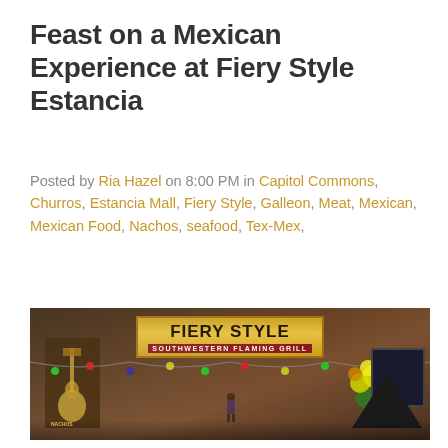Feast on a Mexican Experience at Fiery Style Estancia
Posted by Ria Hazel on 8:00 PM in Capitol Commons, Churros, Estancia Mall, Fiery Style, Galleon, Meat, Mexican, Mexican Food, Nachos, seafood, Tex-Mex,
[Figure (photo): Photo of Fiery Style Southwestern Flaming Grill restaurant entrance at Estancia Mall, showing the illuminated yellow sign, decorative lights, floral arrangement, and guitar poster.]